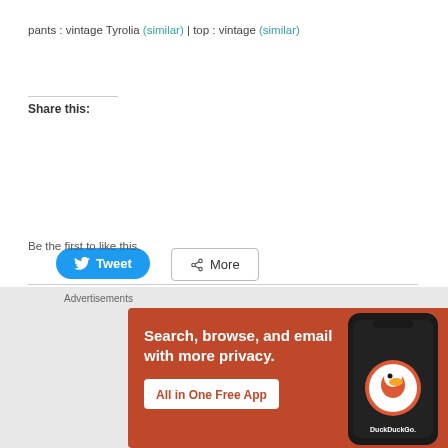pants : vintage Tyrolia (similar) | top : vintage (similar)
Share this:
[Figure (screenshot): Tweet button (blue rounded) and More button (outlined) for sharing]
[Figure (screenshot): Like button with star icon]
Be the first to like this.
[Figure (screenshot): Close (X) circle button]
Advertisements
[Figure (illustration): DuckDuckGo advertisement banner: Search, browse, and email with more privacy. All in One Free App. Orange background with phone showing DuckDuckGo logo.]